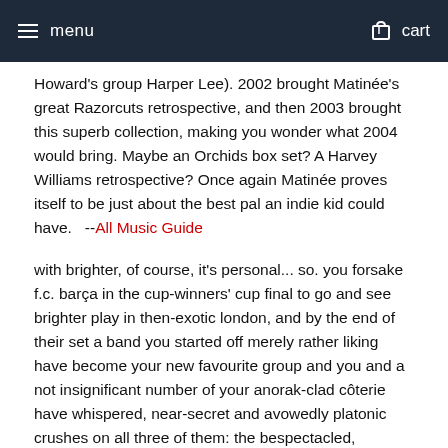menu   cart
Howard's group Harper Lee). 2002 brought Matinée's great Razorcuts retrospective, and then 2003 brought this superb collection, making you wonder what 2004 would bring. Maybe an Orchids box set? A Harvey Williams retrospective? Once again Matinée proves itself to be just about the best pal an indie kid could have.   --All Music Guide
with brighter, of course, it's personal... so. you forsake f.c. barça in the cup-winners' cup final to go and see brighter play in then-exotic london, and by the end of their set a band you started off merely rather liking have become your new favourite group and you and a not insignificant number of your anorak-clad côterie have whispered, near-secret and avowedly platonic crushes on all three of them: the bespectacled, becoming singer keris, the twinkly-eyed bass player alex and the shy-as-you like guitarist alison, the latter's head bowed and hidden by her generous fringe. and before you know it there are scrawled lyrics from "noah's ark" in your exercise book and on your school desk, "i don't think it matters" ricocheting around your head while you reel, dizzy with altitude, from clambering up helvellyn, and you're getting told off for blu-tacking the insert from "around the world in 80 days" to your newly-